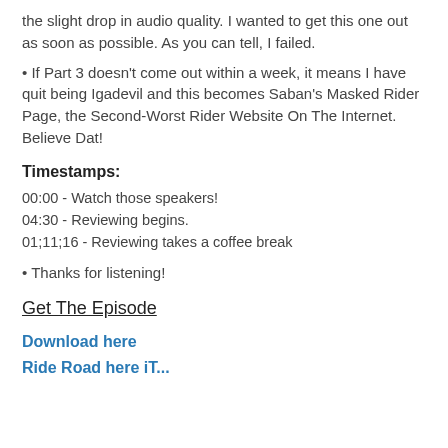the slight drop in audio quality. I wanted to get this one out as soon as possible. As you can tell, I failed.
• If Part 3 doesn't come out within a week, it means I have quit being Igadevil and this becomes Saban's Masked Rider Page, the Second-Worst Rider Website On The Internet. Believe Dat!
Timestamps:
00:00 - Watch those speakers!
04:30 - Reviewing begins.
01;11;16 - Reviewing takes a coffee break
• Thanks for listening!
Get The Episode
Download here
Ride Road here iT...